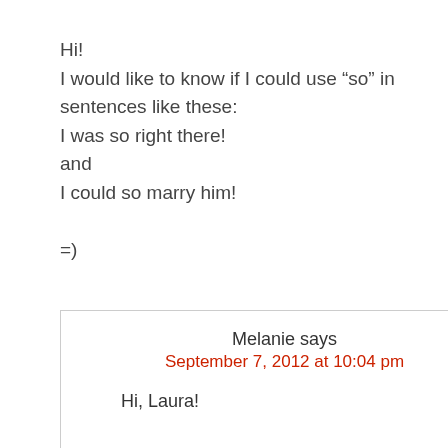Hi!
I would like to know if I could use “so” in sentences like these:
I was so right there!
and
I could so marry him!

=)
Melanie says
September 7, 2012 at 10:04 pm
Hi, Laura!

Yes, you can use so in those sentences in